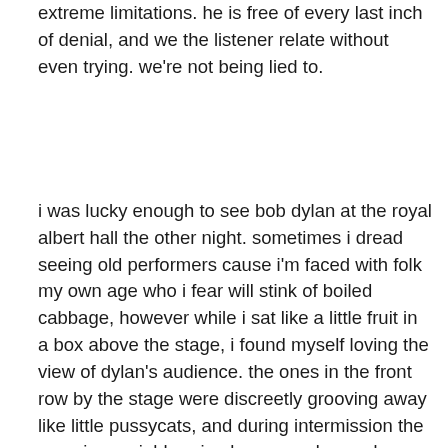extreme limitations. he is free of every last inch of denial, and we the listener relate without even trying. we're not being lied to.
i was lucky enough to see bob dylan at the royal albert hall the other night. sometimes i dread seeing old performers cause i'm faced with folk my own age who i fear will stink of boiled cabbage, however while i sat like a little fruit in a box above the stage, i found myself loving the view of dylan's audience. the ones in the front row by the stage were discreetly grooving away like little pussycats, and during intermission the ones in a neighbouring box eves dropped on my conversation with thomas and joined in with praise for what we were witnessing. dylan's audience is real nice.
never let it be said that old curly chops can't sing. he's